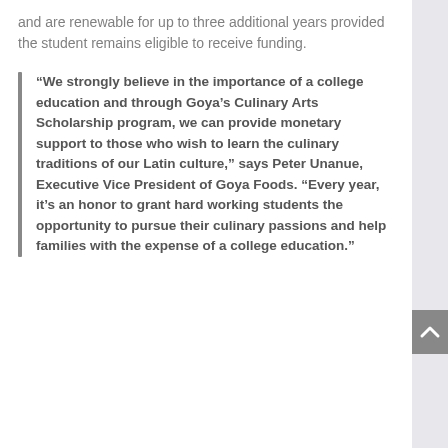and are renewable for up to three additional years provided the student remains eligible to receive funding.
“We strongly believe in the importance of a college education and through Goya’s Culinary Arts Scholarship program, we can provide monetary support to those who wish to learn the culinary traditions of our Latin culture,” says Peter Unanue, Executive Vice President of Goya Foods. “Every year, it’s an honor to grant hard working students the opportunity to pursue their culinary passions and help families with the expense of a college education.”